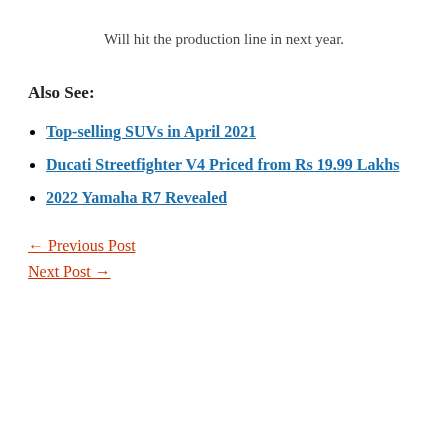Will hit the production line in next year.
Also See:
Top-selling SUVs in April 2021
Ducati Streetfighter V4 Priced from Rs 19.99 Lakhs
2022 Yamaha R7 Revealed
← Previous Post
Next Post →